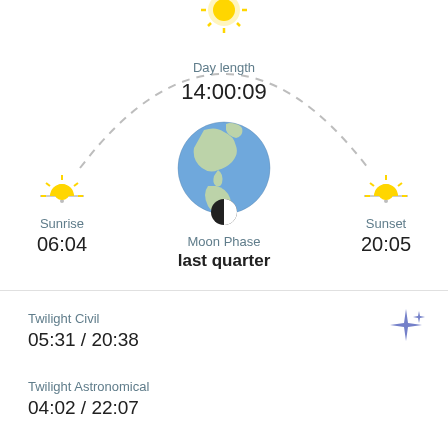[Figure (infographic): Sun arc diagram with sunrise at left, sun at top center, sunset at right, connected by a dashed arc. Globe/earth in center. Shows Day length 14:00:09, Sunrise 06:04, Sunset 20:05. Moon phase icon with 'Moon Phase / last quarter' label below.]
Day length
14:00:09
Sunrise
06:04
Sunset
20:05
Moon Phase
last quarter
Twilight Civil
05:31 / 20:38
Twilight Astronomical
04:02 / 22:07